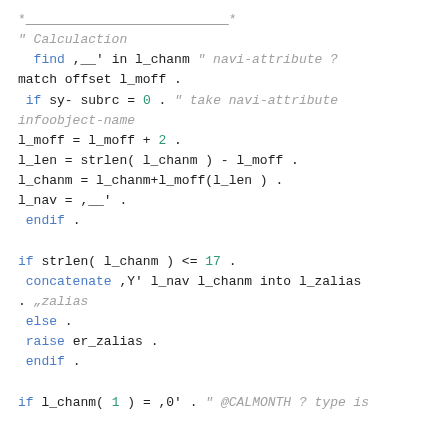*__________________________*
" Calculaction
  find ,__' in l_chanm " navi-attribute ?
match offset l_moff .
 if sy- subrc = 0 . " take navi-attribute infoobject-name
l_moff = l_moff + 2 .
l_len = strlen( l_chanm ) - l_moff .
l_chanm = l_chanm+l_moff(l_len ) .
l_nav = ,__' .
 endif .

if strlen( l_chanm ) <= 17 .
 concatenate ,Y' l_nav l_chanm into l_zalias
 . „zalias
 else .
 raise er_zalias .
 endif .

if l_chanm( 1 ) = ,0' . " @CALMONTH ? type is